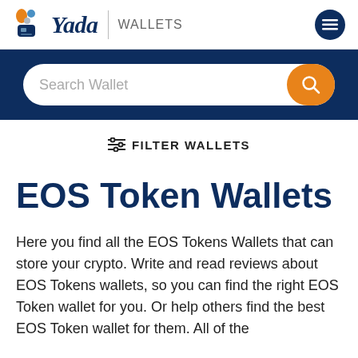[Figure (logo): Yada Wallets logo with colorful coin/card icons and stylized italic 'Yada' text next to a vertical divider and 'WALLETS' label]
[Figure (screenshot): Search bar with placeholder text 'Search Wallet' and orange search button on dark navy background]
≡ FILTER WALLETS
EOS Token Wallets
Here you find all the EOS Tokens Wallets that can store your crypto. Write and read reviews about EOS Tokens wallets, so you can find the right EOS Token wallet for you. Or help others find the best EOS Token wallet for them. All of the